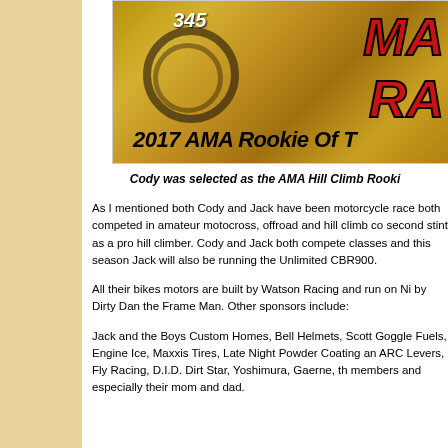[Figure (photo): Motorcycle hill climb racer #345 on dirt terrain with overlaid text '2017 AMA Rookie Of T' and large red stylized letters 'MA' and 'RA' on the right side]
Cody was selected as the AMA Hill Climb Rooki...
As I mentioned both Cody and Jack have been motorcycle race... both competed in amateur motocross, offroad and hill climb co... second stint as a pro hill climber. Cody and Jack both compete... classes and this season Jack will also be running the Unlimited... CBR900.
All their bikes motors are built by Watson Racing and run on Ni... by Dirty Dan the Frame Man. Other sponsors include:
Jack and the Boys Custom Homes, Bell Helmets, Scott Goggle... Fuels, Engine Ice, Maxxis Tires, Late Night Powder Coating an... ARC Levers, Fly Racing, D.I.D. Dirt Star, Yoshimura, Gaerne, th... members and especially their mom and dad.